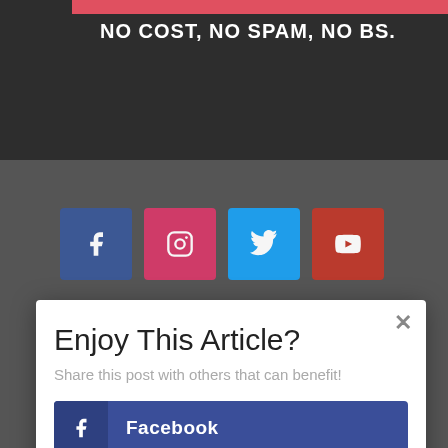NO COST, NO SPAM, NO BS.
[Figure (screenshot): Social media icons row: Facebook (blue), Instagram (pink/red), Twitter (light blue), YouTube (red)]
Enjoy This Article?
Share this post with others that can benefit!
Facebook
Twitter
Google+
Pinterest